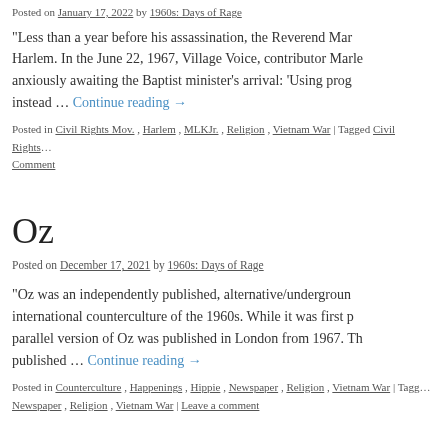Posted on January 17, 2022 by 1960s: Days of Rage
“Less than a year before his assassination, the Reverend Mar… Harlem. In the June 22, 1967, Village Voice, contributor Marle… anxiously awaiting the Baptist minister’s arrival: ‘Using prog… instead … Continue reading →
Posted in Civil Rights Mov., Harlem, MLKJr., Religion, Vietnam War | Tagged Civil Rights… Comment
Oz
Posted on December 17, 2021 by 1960s: Days of Rage
“Oz was an independently published, alternative/undergroun… international counterculture of the 1960s. While it was first p… parallel version of Oz was published in London from 1967. Th… published … Continue reading →
Posted in Counterculture, Happenings, Hippie, Newspaper, Religion, Vietnam War | Tagg… Newspaper, Religion, Vietnam War | Leave a comment